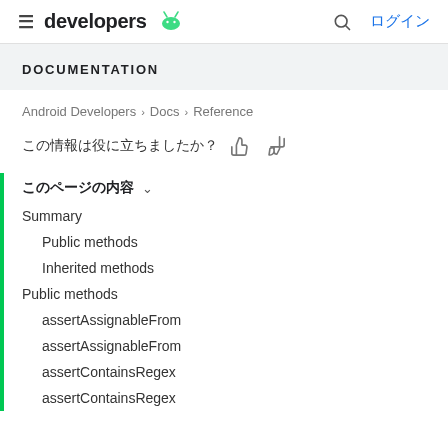developers [Android logo] ログイン
DOCUMENTATION
Android Developers > Docs > Reference
この情報は役に立ちましたか？ 👍 👎
このページの内容 ∨
Summary
Public methods
Inherited methods
Public methods
assertAssignableFrom
assertAssignableFrom
assertContainsRegex
assertContainsRegex